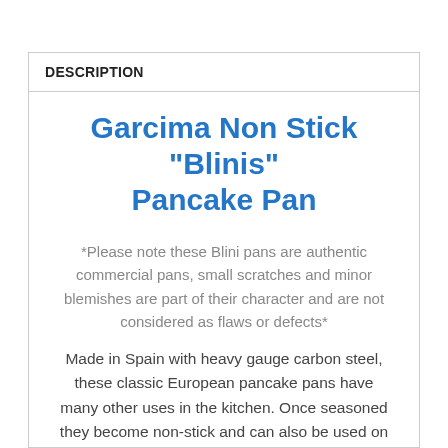DESCRIPTION
Garcima Non Stick "Blinis" Pancake Pan
*Please note these Blini pans are authentic commercial pans, small scratches and minor blemishes are part of their character and are not considered as flaws or defects*
Made in Spain with heavy gauge carbon steel, these classic European pancake pans have many other uses in the kitchen. Once seasoned they become non-stick and can also be used on direct heat outdoors. As with all high carbon cookware, these pans must be dried and oiled after use...